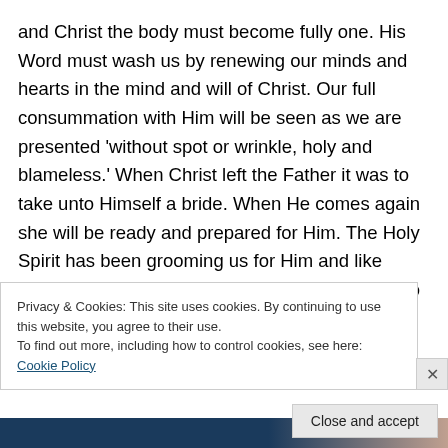and Christ the body must become fully one. His Word must wash us by renewing our minds and hearts in the mind and will of Christ. Our full consummation with Him will be seen as we are presented 'without spot or wrinkle, holy and blameless.' When Christ left the Father it was to take unto Himself a bride. When He comes again she will be ready and prepared for Him. The Holy Spirit has been grooming us for Him and like Esther when she went into the king, we will be so radiant in beauty that none other can compare. The reason Esther was so pleasing to the king is because she took the effort to find out from the
Privacy & Cookies: This site uses cookies. By continuing to use this website, you agree to their use.
To find out more, including how to control cookies, see here: Cookie Policy